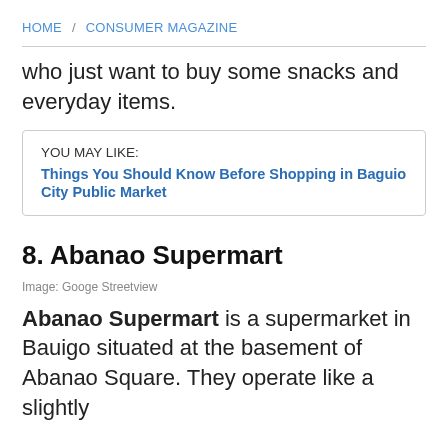HOME / CONSUMER MAGAZINE
who just want to buy some snacks and everyday items.
YOU MAY LIKE: Things You Should Know Before Shopping in Baguio City Public Market
8. Abanao Supermart
Image: Googe Streetview
Abanao Supermart is a supermarket in Bauigo situated at the basement of Abanao Square. They operate like a slightly